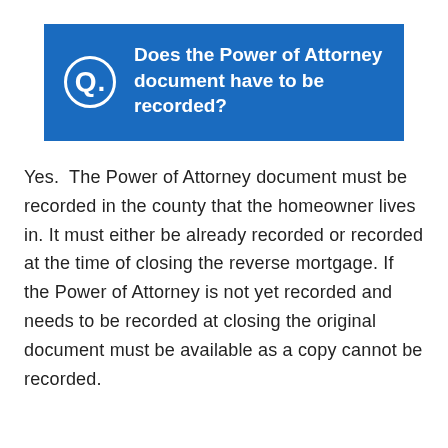Q. Does the Power of Attorney document have to be recorded?
Yes.  The Power of Attorney document must be recorded in the county that the homeowner lives in. It must either be already recorded or recorded at the time of closing the reverse mortgage. If the Power of Attorney is not yet recorded and needs to be recorded at closing the original document must be available as a copy cannot be recorded.